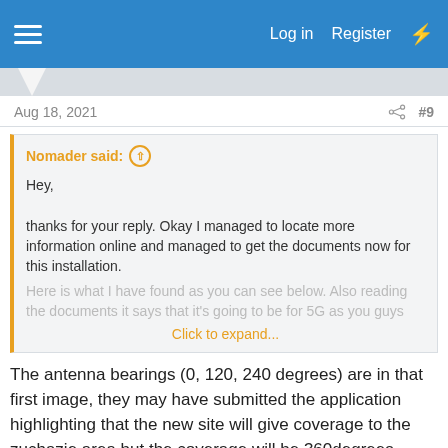Log in  Register
Aug 18, 2021  #9
Nomader said: ↑

Hey,

thanks for your reply. Okay I managed to locate more information online and managed to get the documents now for this installation.
Here is what I have found as you can see below. Also reading the documents it says that it's going to be for 5G as you guys
Click to expand...
The antenna bearings (0, 120, 240 degrees) are in that first image, they may have submitted the application highlighting that the new site will give coverage to the zuchazie area but the coverage will be 360degrees around the site, not specifically directional.